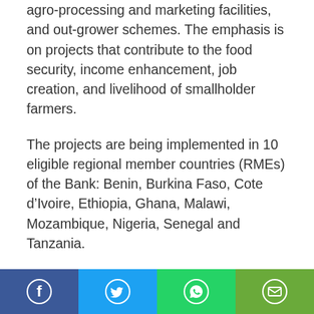agro-processing and marketing facilities, and out-grower schemes. The emphasis is on projects that contribute to the food security, income enhancement, job creation, and livelihood of smallholder farmers.
The projects are being implemented in 10 eligible regional member countries (RMEs) of the Bank: Benin, Burkina Faso, Cote d’Ivoire, Ethiopia, Ghana, Malawi, Mozambique, Nigeria, Senegal and Tanzania.
Media are invited to the opening ceremony which will take place from 09.00 am - 11.00 am on Wednesday, 17 April 2019.
Contacts:
[Figure (infographic): Social media sharing bar with four buttons: Facebook (blue), Twitter (light blue), WhatsApp (green), Email (dark green)]